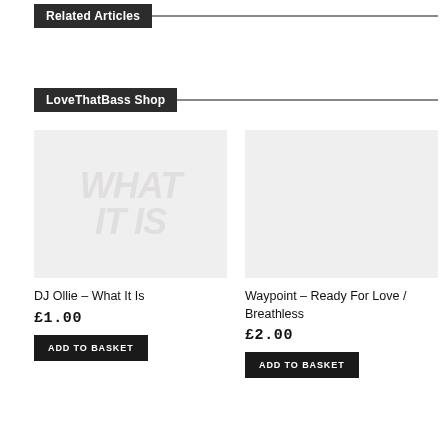Related Articles
LoveThatBass Shop
[Figure (illustration): Product image placeholder for DJ Ollie – What It Is, light grey background with faint italic text]
DJ Ollie – What It Is
£1.00
ADD TO BASKET
[Figure (illustration): Product image placeholder for Waypoint – Ready For Love / Breathless, light grey background]
Waypoint – Ready For Love / Breathless
£2.00
ADD TO BASKET